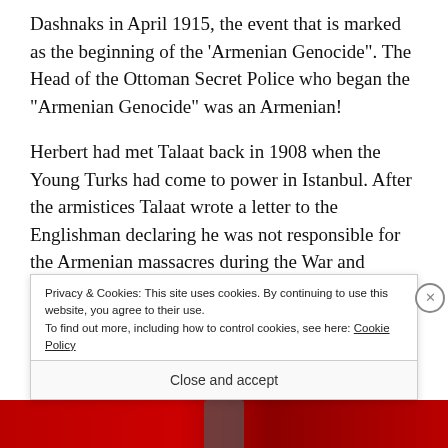Dashnaks in April 1915, the event that is marked as the beginning of the 'Armenian Genocide". The Head of the Ottoman Secret Police who began the "Armenian Genocide" was an Armenian!
Herbert had met Talaat back in 1908 when the Young Turks had come to power in Istanbul. After the armistices Talaat wrote a letter to the Englishman declaring he was not responsible for the Armenian massacres during the War and saying he
Privacy & Cookies: This site uses cookies. By continuing to use this website, you agree to their use.
To find out more, including how to control cookies, see here: Cookie Policy
Close and accept